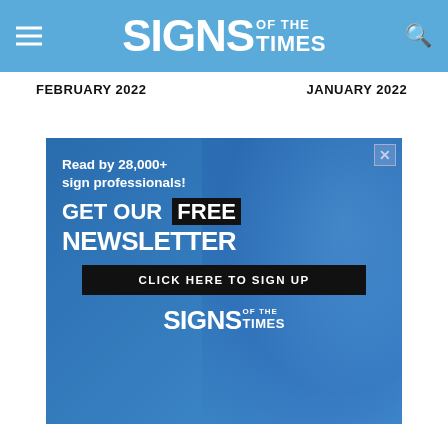SIGNS OF THE TIMES
FEBRUARY 2022    JANUARY 2022
ADVERTISEMENT
[Figure (infographic): Advertisement for Signs of the Times newsletter. Blue background with person in background. Text: 'Read by 28,000+ sign professionals! GET OUR FREE NEWSLETTER CLICK HERE TO SIGN UP' with Signs of the Times logo at bottom.]